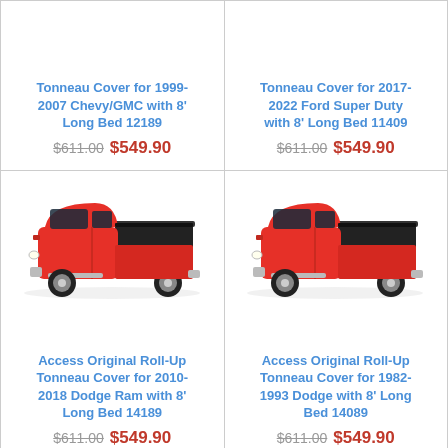Tonneau Cover for 1999-2007 Chevy/GMC with 8' Long Bed 12189
$611.00 $549.90
Tonneau Cover for 2017-2022 Ford Super Duty with 8' Long Bed 11409
$611.00 $549.90
[Figure (photo): Red pickup truck with black roll-up tonneau cover, side-rear angle view]
Access Original Roll-Up Tonneau Cover for 2010-2018 Dodge Ram with 8' Long Bed 14189
$611.00 $549.90
[Figure (photo): Red pickup truck with black roll-up tonneau cover, side-rear angle view]
Access Original Roll-Up Tonneau Cover for 1982-1993 Dodge with 8' Long Bed 14089
$611.00 $549.90
[Figure (photo): Red pickup truck with black roll-up tonneau cover, partial view at bottom]
[Figure (photo): Red pickup truck with black roll-up tonneau cover, partial view at bottom]